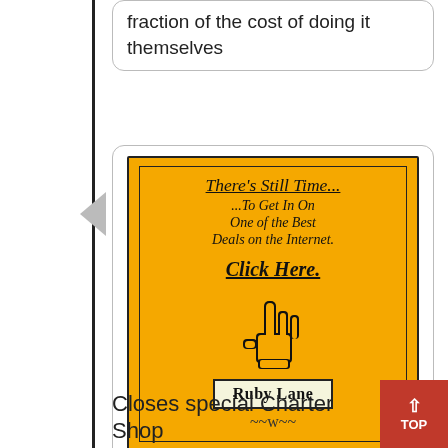fraction of the cost of doing it themselves
[Figure (illustration): Orange advertisement banner with serif text reading 'There's Still Time... ...To Get In On One of the Best Deals on the Internet. Click Here.' with a pointing hand cursor icon and 'Ruby Lane' label box with decorative squiggle border.]
Closes special Charter Shop